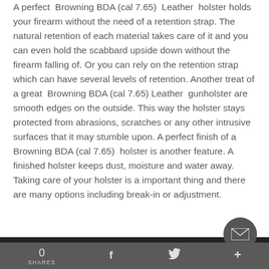A perfect  Browning BDA (cal 7.65)  Leather  holster holds your firearm without the need of a retention strap. The natural retention of each material takes care of it and you can even hold the scabbard upside down without the firearm falling of. Or you can rely on the retention strap which can have several levels of retention. Another treat of a great  Browning BDA (cal 7.65) Leather  gunholster are smooth edges on the outside. This way the holster stays protected from abrasions, scratches or any other intrusive surfaces that it may stumble upon. A perfect finish of a Browning BDA (cal 7.65)  holster is another feature. A finished holster keeps dust, moisture and water away. Taking care of your holster is a important thing and there are many options including break-in or adjustment.
0 SHARES   f   ✓   +